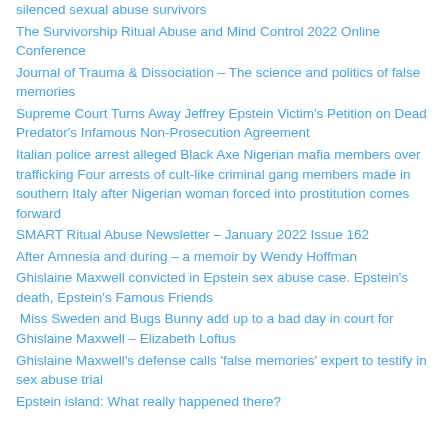silenced sexual abuse survivors
The Survivorship Ritual Abuse and Mind Control 2022 Online Conference
Journal of Trauma & Dissociation – The science and politics of false memories
Supreme Court Turns Away Jeffrey Epstein Victim's Petition on Dead Predator's Infamous Non-Prosecution Agreement
Italian police arrest alleged Black Axe Nigerian mafia members over trafficking Four arrests of cult-like criminal gang members made in southern Italy after Nigerian woman forced into prostitution comes forward
SMART Ritual Abuse Newsletter – January 2022 Issue 162
After Amnesia and during – a memoir by Wendy Hoffman
Ghislaine Maxwell convicted in Epstein sex abuse case. Epstein's death, Epstein's Famous Friends
Miss Sweden and Bugs Bunny add up to a bad day in court for Ghislaine Maxwell – Elizabeth Loftus
Ghislaine Maxwell's defense calls 'false memories' expert to testify in sex abuse trial
Epstein island: What really happened there?